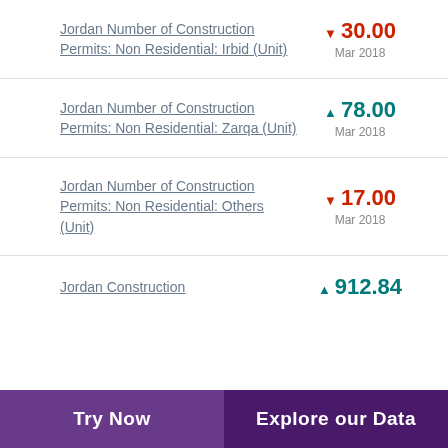Jordan Number of Construction Permits: Non Residential: Irbid (Unit)
Jordan Number of Construction Permits: Non Residential: Zarqa (Unit)
Jordan Number of Construction Permits: Non Residential: Others (Unit)
Jordan Construction
Try Now | Explore our Data